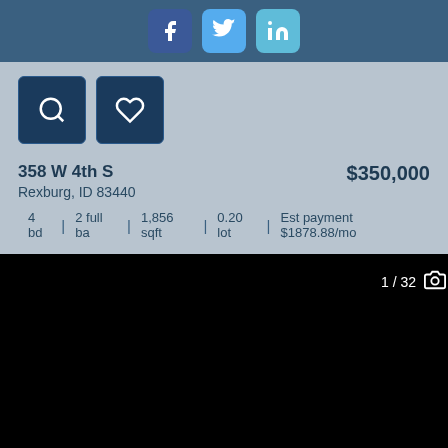[Figure (screenshot): Social media share buttons: Facebook, Twitter, LinkedIn on dark blue header bar]
[Figure (other): Search icon button (magnifying glass) and favorite/heart icon button, dark navy blue squares]
358 W 4th S
Rexburg, ID 83440
$350,000
4 bd  |  2 full ba  |  1,856 sqft  |  0.20 lot  |  Est payment $1878.88/mo
[Figure (photo): Property photo, mostly black/dark image, showing 1/32 photo count indicator with camera icon in upper right corner]